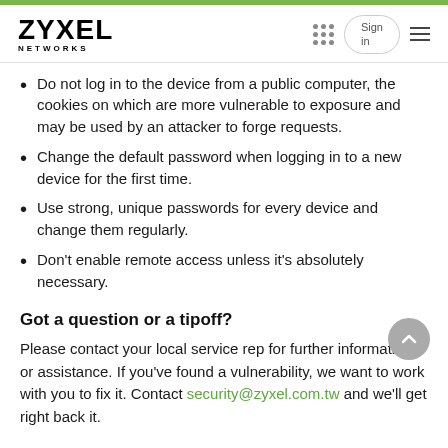ZYXEL NETWORKS
Do not log in to the device from a public computer, the cookies on which are more vulnerable to exposure and may be used by an attacker to forge requests.
Change the default password when logging in to a new device for the first time.
Use strong, unique passwords for every device and change them regularly.
Don't enable remote access unless it's absolutely necessary.
Got a question or a tipoff?
Please contact your local service rep for further information or assistance. If you've found a vulnerability, we want to work with you to fix it. Contact security@zyxel.com.tw and we'll get right back to it.